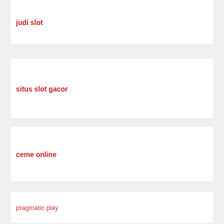judi slot
situs slot gacor
ceme online
pragmatic play